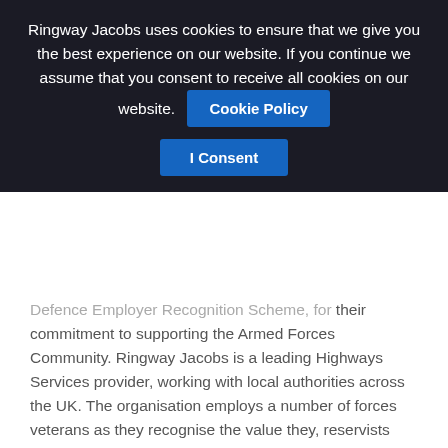Ringway Jacobs uses cookies to ensure that we give you the best experience on our website. If you continue we assume that you consent to receive all cookies on our website.
Cookie Policy
I Consent
Defence Employer Recognition Scheme, for their commitment to supporting the Armed Forces Community. Ringway Jacobs is a leading Highways Services provider, working with local authorities across the UK. The organisation employs a number of forces veterans as they recognise the value they, reservists and military families bring to the UK Highways industry and this is an award they are extremely proud of.
Established in 2005 specifically to provide road network management solutions to local